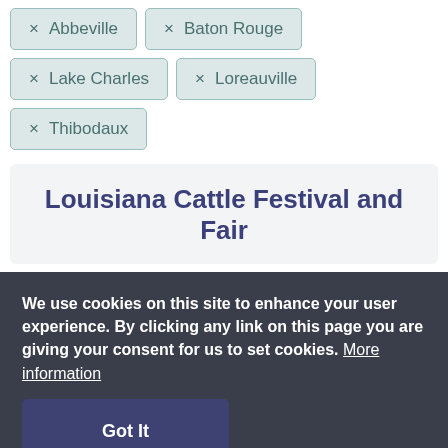× Abbeville
× Baton Rouge
× Lake Charles
× Loreauville
× Thibodaux
Louisiana Cattle Festival and Fair
We use cookies on this site to enhance your user experience. By clicking any link on this page you are giving your consent for us to set cookies. More information
Got It